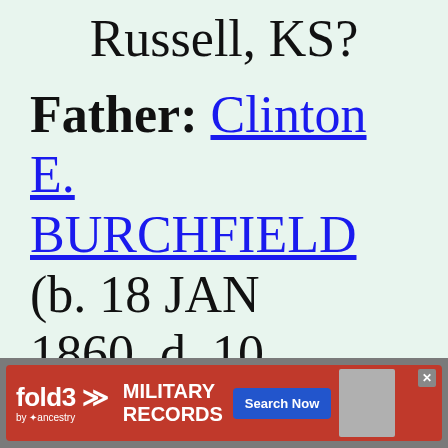Russell, KS?
Father: Clinton E. BURCHFIELD (b. 18 JAN 1860, d. 10 APR 1933)
[Figure (screenshot): Fold3 by Ancestry advertisement banner for Military Records with Search Now button]